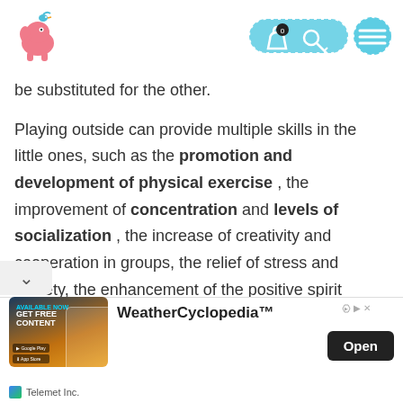[Figure (logo): Pink elephant logo with teal bird on top, website logo]
[Figure (screenshot): Navigation icons: shopping bag with 0 badge, key/search icon in teal rounded pill, hamburger menu icon in teal circle]
be substituted for the other.
Playing outside can provide multiple skills in the little ones, such as the promotion and development of physical exercise , the improvement of concentration and levels of socialization , the increase of creativity and cooperation in groups, the relief of stress and anxiety, the enhancement of the positive spirit Natural elements, such as the air or the sun,
[Figure (screenshot): Advertisement banner: WeatherCyclopedia app, GET FREE CONTENT text, phone image, Open button, Telemet Inc. branding]